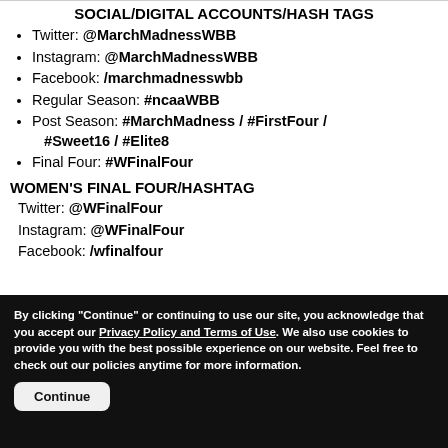SOCIAL/DIGITAL ACCOUNTS/HASH TAGS
Twitter: @MarchMadnessWBB
Instagram: @MarchMadnessWBB
Facebook: /marchmadnesswbb
Regular Season: #ncaaWBB
Post Season: #MarchMadness / #FirstFour / #Sweet16 / #Elite8
Final Four: #WFinalFour
WOMEN'S FINAL FOUR/HASHTAG
Twitter: @WFinalFour
Instagram: @WFinalFour
Facebook: /wfinalfour
By clicking "Continue" or continuing to use our site, you acknowledge that you accept our Privacy Policy and Terms of Use. We also use cookies to provide you with the best possible experience on our website. Feel free to check out our policies anytime for more information.